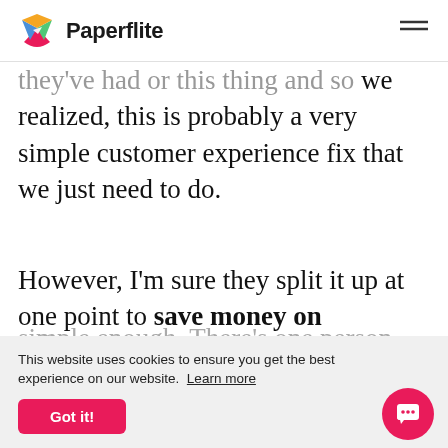Paperflite
we realized, this is probably a very simple customer experience fix that we just need to do.
However, I'm sure they split it up at one point to save money on shipping. So I'm going to have to make a business case that says, “I know it’s
simple enough. There’s one person
This website uses cookies to ensure you get the best experience on our website. Learn more